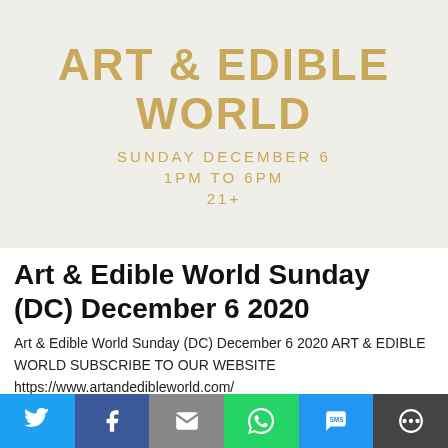[Figure (illustration): Event flyer banner for Art & Edible World with gold text on textured off-white background. Displays title 'ART & EDIBLE WORLD', date 'SUNDAY DECEMBER 6', time '1PM TO 6PM', and age restriction '21+'.]
Art & Edible World Sunday (DC) December 6 2020
Art & Edible World Sunday (DC) December 6 2020 ART & EDIBLE WORLD SUBSCRIBE TO OUR WEBSITE https://www.artandedibleworld.com/ PLEASE NOTE THIS A i21 COMPLIANT EVENT
[Figure (infographic): Social sharing bar with six buttons: Twitter (blue), Facebook (dark blue), Email (grey), WhatsApp (green), SMS (blue), More (dark grey)]